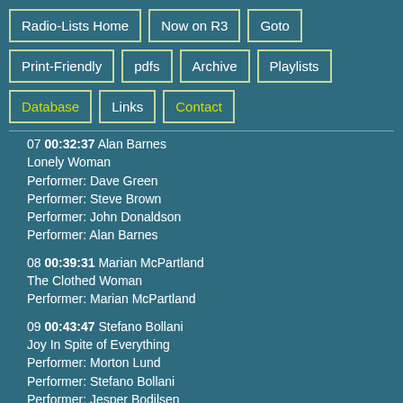Radio-Lists Home
Now on R3
Goto
Print-Friendly
pdfs
Archive
Playlists
Database
Links
Contact
07 00:32:37 Alan Barnes
Lonely Woman
Performer: Dave Green
Performer: Steve Brown
Performer: John Donaldson
Performer: Alan Barnes
08 00:39:31 Marian McPartland
The Clothed Woman
Performer: Marian McPartland
09 00:43:47 Stefano Bollani
Joy In Spite of Everything
Performer: Morton Lund
Performer: Stefano Bollani
Performer: Jesper Bodilsen